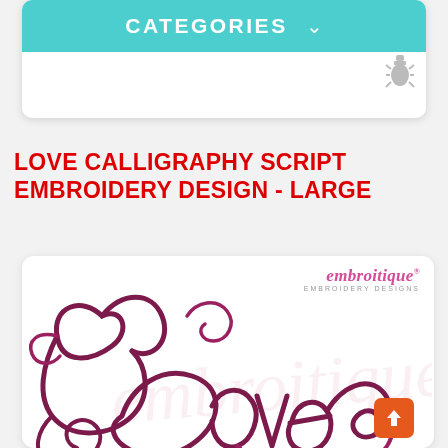CATEGORIES
LOVE CALLIGRAPHY SCRIPT EMBROIDERY DESIGN - LARGE
[Figure (illustration): Product image showing calligraphy style 'Love' embroidery design with decorative swirls in dark purple/plum color, with Embroitique Embroidery Designs logo in pink at top right. Watermark text visible in background.]